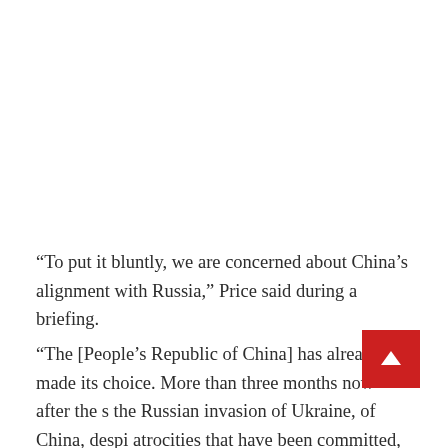“To put it bluntly, we are concerned about China’s alignment with Russia,” Price said during a briefing.
“The [People’s Republic of China] has already made its choice. More than three months now after the s the Russian invasion of Ukraine, of China, despi atrocities that have been committed, despite the violence, despite the loss of life, despite the global